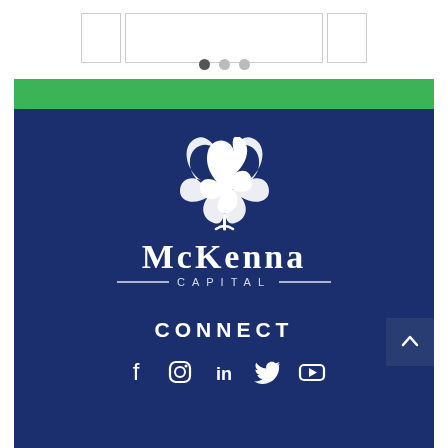[Figure (screenshot): Three card/slide thumbnails in a row with a pagination dot indicator below them, showing a carousel UI element with the first dot active.]
[Figure (logo): McKenna Capital logo on a dark navy blue background with a green top bar. Features a white four-leaf clover / shamrock SVG icon above the text 'McKENNA CAPITAL' in white serif lettering with decorative horizontal lines flanking 'CAPITAL'. Below are the words 'CONNECT' in bold white uppercase and social media icons for Facebook, Instagram, LinkedIn, Twitter, and YouTube.]